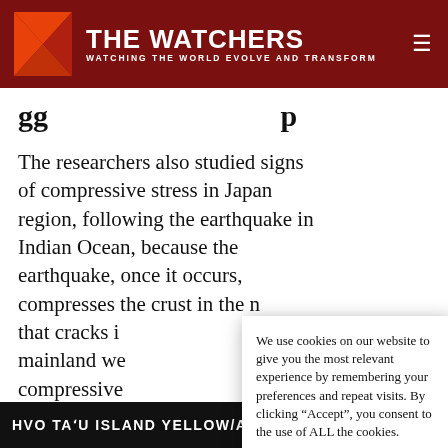THE WATCHERS — WATCHING THE WORLD EVOLVE AND TRANSFORM
The researchers also studied signs of compressive stress in Japan region, following the earthquake in Indian Ocean, because the earthquake, once it occurs, compresses the crust in the n[eighboring area, meaning] that cracks i[n the Japanese] mainland we[re exposed to] compressive [stress].
"We still can[not rule out] another eart[hquake]..."
We use cookies on our website to give you the most relevant experience by remembering your preferences and repeat visits. By clicking “Accept”, you consent to the use of ALL the cookies.
Do not sell my personal information.
HVO TAʻU ISLAND YELLOW/ADVISORY - TAʻŪ